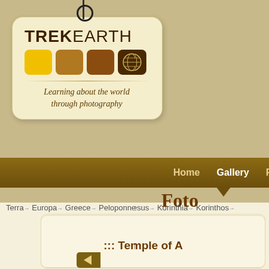[Figure (logo): TrekEarth logo tag with luggage tag design, color squares (yellow, brown, dark brown, globe icon), and tagline 'Learning about the world through photography']
Home   Gallery   Forums   C
Foto
Terra → Europa → Greece → Peloponnesus → Korinthia → Korinthos →
::: Temple of A